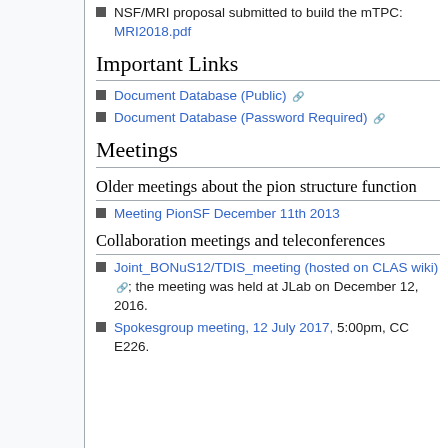NSF/MRI proposal submitted to build the mTPC: MRI2018.pdf
Important Links
Document Database (Public)
Document Database (Password Required)
Meetings
Older meetings about the pion structure function
Meeting PionSF December 11th 2013
Collaboration meetings and teleconferences
Joint_BONuS12/TDIS_meeting (hosted on CLAS wiki); the meeting was held at JLab on December 12, 2016.
Spokesgroup meeting, 12 July 2017, 5:00pm, CC E226.